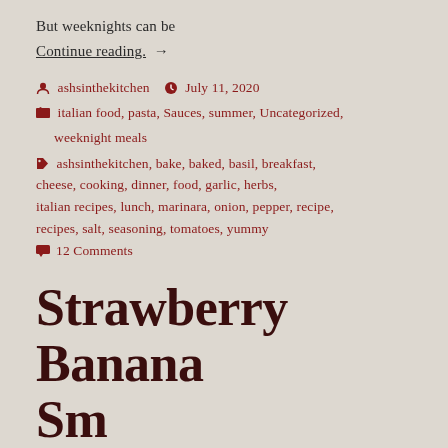But weeknights can be
Continue reading. →
ashsinthekitchen   July 11, 2020
italian food, pasta, Sauces, summer, Uncategorized, weeknight meals
ashsinthekitchen, bake, baked, basil, breakfast, cheese, cooking, dinner, food, garlic, herbs, italian recipes, lunch, marinara, onion, pepper, recipe, recipes, salt, seasoning, tomatoes, yummy
12 Comments
Strawberry Banana